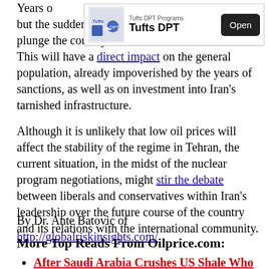[Figure (other): Advertisement banner for Tufts DPT Programs with logo image, text 'Tufts DPT Programs' and 'Tufts DPT', and an Open button]
Years of sanctions have crippled Iran's economy, but the sudden drop in oil prices is threatening to plunge the country into a full-blown recession. This will have a direct impact on the general population, already impoverished by the years of sanctions, as well as on investment into Iran's tarnished infrastructure.
Although it is unlikely that low oil prices will affect the stability of the regime in Tehran, the current situation, in the midst of the nuclear program negotiations, might stir the debate between liberals and conservatives within Iran's leadership over the future course of the country and its relations with the international community.
By Dr. Ante Batovic of http://globalriskinsights.com/
More Top Reads From Oilprice.com:
After Saudi Arabia Crushes US Shale Who Will It Go After Next?